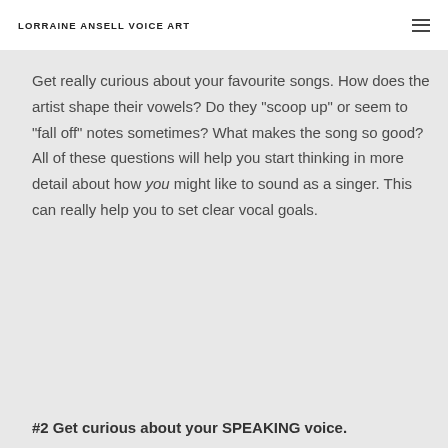LORRAINE ANSELL VOICE ART
Get really curious about your favourite songs. How does the artist shape their vowels? Do they “scoop up” or seem to “fall off” notes sometimes? What makes the song so good? All of these questions will help you start thinking in more detail about how you might like to sound as a singer. This can really help you to set clear vocal goals.
#2 Get curious about your SPEAKING voice.